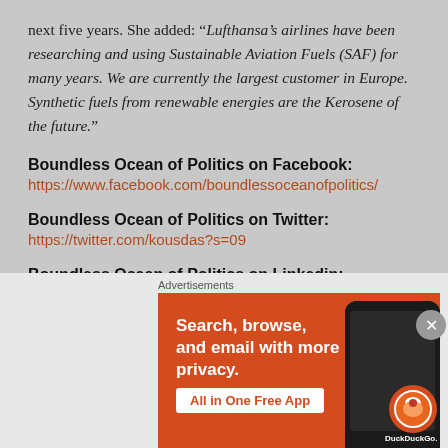next five years. She added: “Lufthansa’s airlines have been researching and using Sustainable Aviation Fuels (SAF) for many years. We are currently the largest customer in Europe. Synthetic fuels from renewable energies are the Kerosene of the future.”
Boundless Ocean of Politics on Facebook:
https://www.facebook.com/boundlessoceanofpolitics/
Boundless Ocean of Politics on Twitter:
https://twitter.com/kousdas?s=09
Boundless Ocean of Politics on Linkedin:
[Figure (infographic): DuckDuckGo advertisement banner with orange background. Text reads: Search, browse, and email with more privacy. All in One Free App. Shows a smartphone with DuckDuckGo logo.]